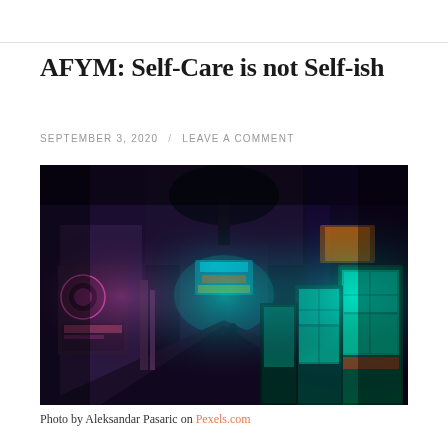AFYM: Self-Care is not Self-ish
SEPTEMBER 3, 2020 / LEAVE A COMMENT
[Figure (photo): Night street scene in a Japanese city alley with neon signs, vending machines glowing in blue-green light on the right, storefronts with colorful posters on the left, a lone figure walking in the distance, dark moody atmosphere with purple-toned shadows.]
Photo by Aleksandar Pasaric on Pexels.com